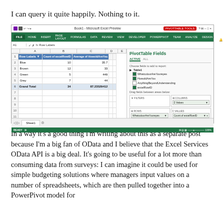I can query it quite happily. Nothing to it.
[Figure (screenshot): Microsoft Excel PivotTable screenshot showing a pivot table with Row Labels (Blue, Brown, Green, Grey, Grand Total), Count of excelRowID, and Average of HowoldAreYou columns. The right panel shows PivotTable Fields pane with Table1 fields including WhatcolourAreYoureyes, HowoldAreYou, AnythingBeyondUnderstanding, excelRowID. Bottom areas show FILTERS, COLUMNS (Values), ROWS (WhatcolourAreYoureyes), and VALUES (Count of excelRowID, Average of HowoldAreYou).]
In a way it’s a good thing I’m writing about this as a separate post because I’m a big fan of OData and I believe that the Excel Services OData API is a big deal. It’s going to be useful for a lot more than consuming data from surveys: I can imagine it could be used for simple budgeting solutions where managers input values on a number of spreadsheets, which are then pulled together into a PowerPivot model for